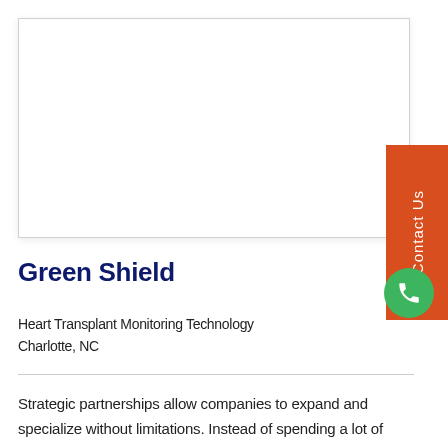[Figure (photo): White rectangular image placeholder box with light border and shadow]
Green Shield
Heart Transplant Monitoring Technology
Charlotte, NC
Strategic partnerships allow companies to expand and specialize without limitations. Instead of spending a lot of money and time perfecting a new thing, we prefer to perfect our own services and call in the experts for other tasks when needed.